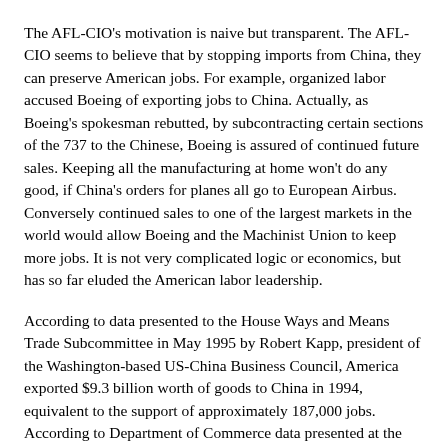The AFL-CIO's motivation is naive but transparent. The AFL-CIO seems to believe that by stopping imports from China, they can preserve American jobs. For example, organized labor accused Boeing of exporting jobs to China. Actually, as Boeing's spokesman rebutted, by subcontracting certain sections of the 737 to the Chinese, Boeing is assured of continued future sales. Keeping all the manufacturing at home won't do any good, if China's orders for planes all go to European Airbus. Conversely continued sales to one of the largest markets in the world would allow Boeing and the Machinist Union to keep more jobs. It is not very complicated logic or economics, but has so far eluded the American labor leadership.
According to data presented to the House Ways and Means Trade Subcommittee in May 1995 by Robert Kapp, president of the Washington-based US-China Business Council, America exported $9.3 billion worth of goods to China in 1994, equivalent to the support of approximately 187,000 jobs. According to Department of Commerce data presented at the same testimony, China will be buying $90 billion worth